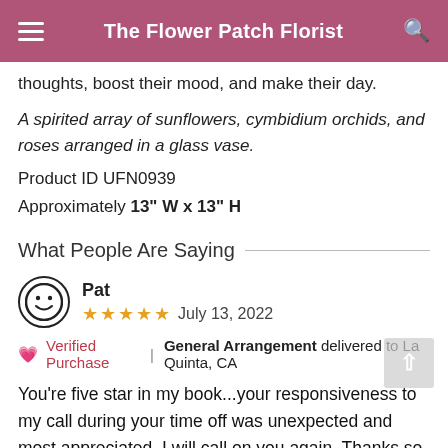The Flower Patch Florist
thoughts, boost their mood, and make their day.
A spirited array of sunflowers, cymbidium orchids, and roses arranged in a glass vase.
Product ID UFN0939
Approximately 13" W x 13" H
What People Are Saying
Pat
★★★★★  July 13, 2022
💗 Verified Purchase | General Arrangement delivered to La Quinta, CA
You're five star in my book...your responsiveness to my call during your time off was unexpected and most appreciated. I will call on you again. Thanks so much for your good service.